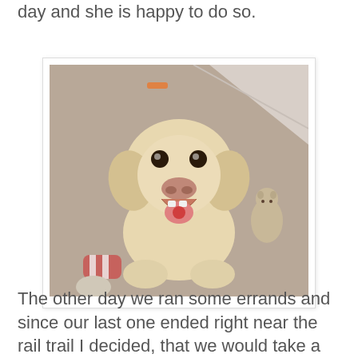day and she is happy to do so.
[Figure (photo): A yellow Labrador Retriever dog sitting on a beige/tan carpet, looking up at the camera with mouth open and tongue showing, appearing to smile. A small stuffed dog toy is visible to the upper right, and other toys are on the lower left. The dog wears a red collar tag.]
The other day we ran some errands and since our last one ended right near the rail trail I decided, that we would take a